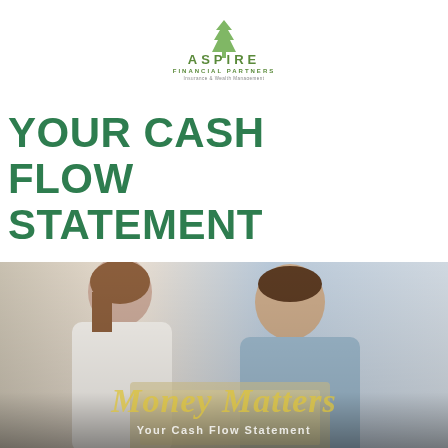[Figure (logo): Aspire Financial Partners logo with tree/spire icon and tagline 'Insurance & Wealth Management']
YOUR CASH FLOW STATEMENT
[Figure (photo): A man and woman sitting together looking intently at financial documents or a laptop, with overlaid text 'Money Matters' and 'Your Cash Flow Statement']